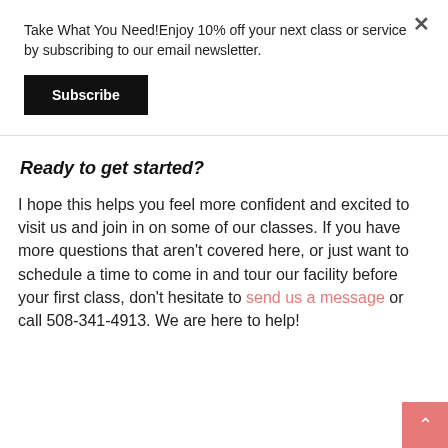Take What You Need!Enjoy 10% off your next class or service by subscribing to our email newsletter.
Subscribe
Ready to get started?
I hope this helps you feel more confident and excited to visit us and join in on some of our classes. If you have more questions that aren't covered here, or just want to schedule a time to come in and tour our facility before your first class, don't hesitate to send us a message or call 508-341-4913. We are here to help!